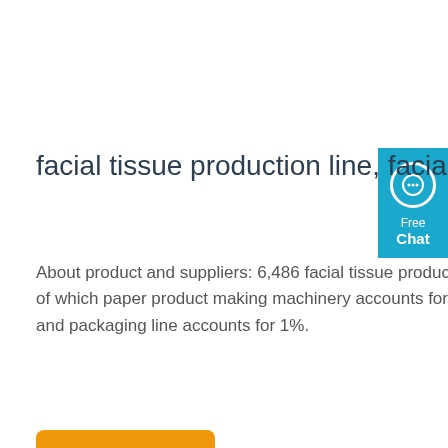facial tissue production line, facial tissue production ...
About product and suppliers: 6,486 facial tissue production line products are offered for sale by suppliers on , of which paper product making machinery accounts for 60%, paper processing machinery accounts for 4%, and packaging line accounts for 1%.
[Figure (other): Blue chat widget button with speech bubble icon and 'Free Chat' label]